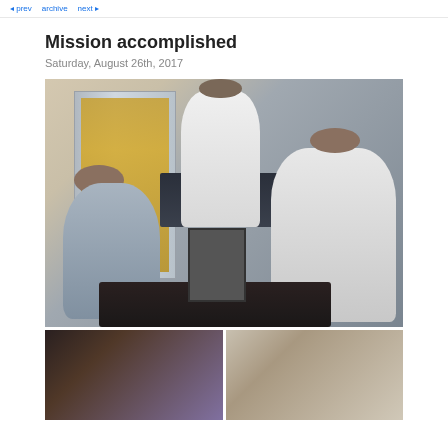Mission accomplished
Saturday, August 26th, 2017
[Figure (photo): Men in a restaurant kitchen scene. A bald man in white chef attire leans over a round dark table holding a plate. A bearded man in a sleeveless shirt sits at the table. In the background, a man in white raises both arms. A large stainless steel refrigerator with illuminated interior is visible. A framed picture sits on the table.]
[Figure (photo): Bottom left: partial view of the kitchen refrigerator and a person's back.]
[Figure (photo): Bottom right: partial view of a person and the restaurant interior.]